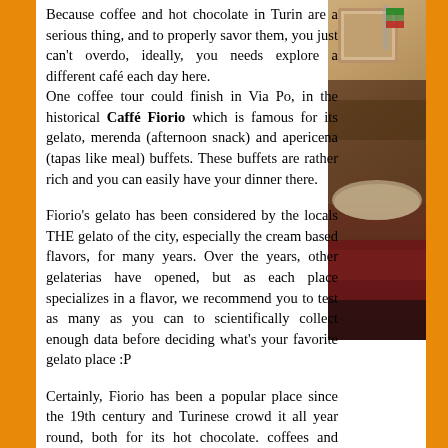Because coffee and hot chocolate in Turin are a serious thing, and to properly savor them, you just can't overdo, ideally, you needs explore a different café each day here.
One coffee tour could finish in Via Po, in the historical Caffé Fiorio which is famous for its gelato, merenda (afternoon snack) and apericena (tapas like meal) buffets. These buffets are rather rich and you can easily have your dinner there.
Fiorio's gelato has been considered by the locals THE gelato of the city, especially the cream based flavors, for many years. Over the years, other gelaterias have opened, but as each place specializes in a flavor, we recommend you to test as many as you can to scientifically collect enough data before deciding what's your favorite gelato place :P
Certainly, Fiorio has been a popular place since the 19th century and Turinese crowd it all year round, both for its hot chocolate. coffees and bicerin, and for its aristocratic atmosphere.
[Figure (photo): Interior photo of Caffé Fiorio showing ornate decor with warm brown tones, red seating, and decorative wall elements]